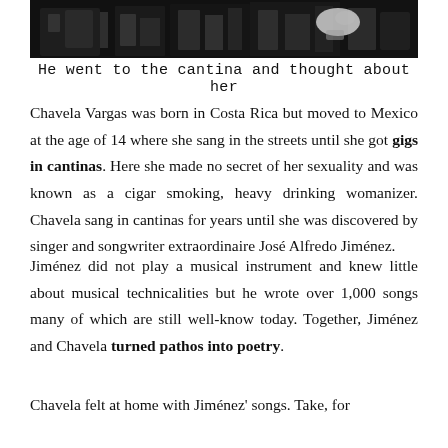[Figure (illustration): Black and white illustration of a figure at a cantina]
He went to the cantina and thought about her
Chavela Vargas was born in Costa Rica but moved to Mexico at the age of 14 where she sang in the streets until she got gigs in cantinas. Here she made no secret of her sexuality and was known as a cigar smoking, heavy drinking womanizer. Chavela sang in cantinas for years until she was discovered by singer and songwriter extraordinaire José Alfredo Jiménez.
Jiménez did not play a musical instrument and knew little about musical technicalities but he wrote over 1,000 songs many of which are still well-know today. Together, Jiménez and Chavela turned pathos into poetry.
Chavela felt at home with Jiménez' songs. Take, for example, En El Último Trago...